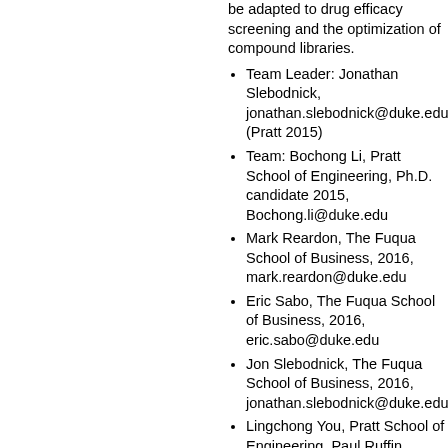be adapted to drug efficacy screening and the optimization of compound libraries.
Team Leader: Jonathan Slebodnick, jonathan.slebodnick@duke.edu (Pratt 2015)
Team: Bochong Li, Pratt School of Engineering, Ph.D. candidate 2015, Bochong.li@duke.edu
Mark Reardon, The Fuqua School of Business, 2016, mark.reardon@duke.edu
Eric Sabo, The Fuqua School of Business, 2016, eric.sabo@duke.edu
Jon Slebodnick, The Fuqua School of Business, 2016, jonathan.slebodnick@duke.edu
Lingchong You, Pratt School of Engineering, Paul Ruffin Scarborough Associate Professor of Engineering, you@duke.edu
Location: Durham, NC
Track: Healthcare & Life Sciences
Weight-bearing foot orthosis